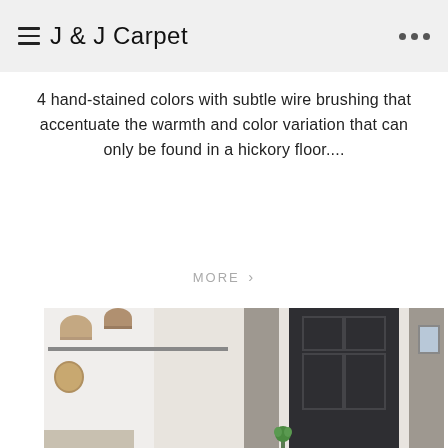J & J Carpet
4 hand-stained colors with subtle wire brushing that accentuate the warmth and color variation that can only be found in a hickory floor....
MORE >
[Figure (photo): Interior home photo showing a mudroom entryway with white shiplap wall, hooks with hats and bag on the left, and a dark painted front door with white trim on the right, with a green plant near the door.]